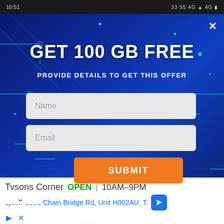10:51  33 55 4G 4G
[Figure (screenshot): Mobile popup advertisement on dark blue circuit board background with 'GET 100 GB FREE' headline, subheadline 'PROVIDE DETAILS TO GET THIS OFFER', Name input field, Email input field, orange SUBMIT button, close X button, and collapse chevron button]
GET 100 GB FREE
PROVIDE DETAILS TO GET THIS OFFER
Name
Email
SUBMIT
Tysons Corner  OPEN | 10AM–9PM
dyson  1961 Chain Bridge Rd, Unit H002AU, T.